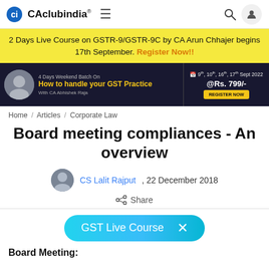CAclubindia®
2 Days Live Course on GSTR-9/GSTR-9C by CA Arun Chhajer begins 17th September. Register Now!!
[Figure (infographic): Dark banner ad: 4 Days Weekend Batch On How to handle your GST Practice With CA Abhishek Raja. 9th, 10th, 16th, 17th Sept 2022 @Rs. 799/- REGISTER NOW]
Home / Articles / Corporate Law
Board meeting compliances - An overview
CS Lalit Rajput , 22 December 2018
Share
[Figure (infographic): GST Live Course pill button with close X]
Board Meeting: